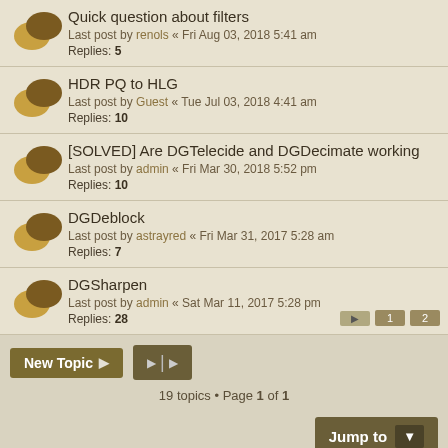Quick question about filters — Last post by renols « Fri Aug 03, 2018 5:41 am — Replies: 5
HDR PQ to HLG — Last post by Guest « Tue Jul 03, 2018 4:41 am — Replies: 10
[SOLVED] Are DGTelecide and DGDecimate working — Last post by admin « Fri Mar 30, 2018 5:52 pm — Replies: 10
DGDeblock — Last post by astrayred « Fri Mar 31, 2017 5:28 am — Replies: 7
DGSharpen — Last post by admin « Sat Mar 11, 2017 5:28 pm — Replies: 28
19 topics • Page 1 of 1
Forum permissions